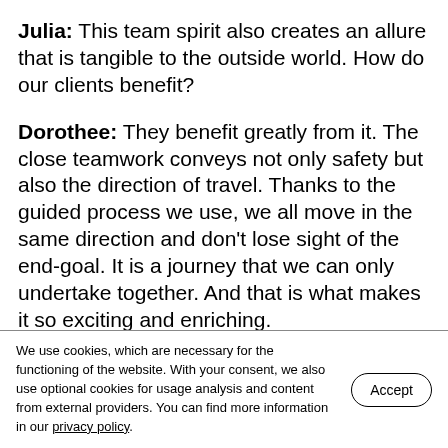Julia: This team spirit also creates an allure that is tangible to the outside world. How do our clients benefit?
Dorothee: They benefit greatly from it. The close teamwork conveys not only safety but also the direction of travel. Thanks to the guided process we use, we all move in the same direction and don't lose sight of the end-goal. It is a journey that we can only undertake together. And that is what makes it so exciting and enriching.
We use cookies, which are necessary for the functioning of the website. With your consent, we also use optional cookies for usage analysis and content from external providers. You can find more information in our privacy policy.